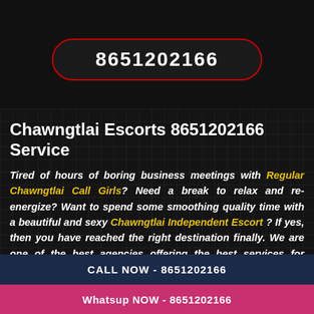8651202166
Chawngtlai Escorts 8651202166 Service
Tired of hours of boring business meetings with Regular Chawngtlai Call Girls? Need a break to relax and re-energize? Want to spend some smoothing quality time with a beautiful and sexy Chawngtlai Independent Escort ? If yes, then you have reached the right destination finally. We are one of the best agencies offering the best services for independent Chawngtlai Escorts. Are you ready to chat with the
CALL NOW - 8651202166
Whatsup NOW - 8651202166